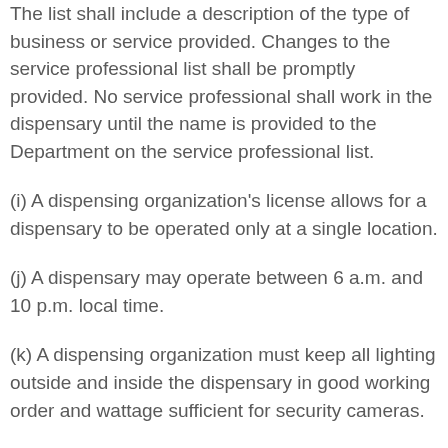The list shall include a description of the type of business or service provided. Changes to the service professional list shall be promptly provided. No service professional shall work in the dispensary until the name is provided to the Department on the service professional list.
(i) A dispensing organization's license allows for a dispensary to be operated only at a single location.
(j) A dispensary may operate between 6 a.m. and 10 p.m. local time.
(k) A dispensing organization must keep all lighting outside and inside the dispensary in good working order and wattage sufficient for security cameras.